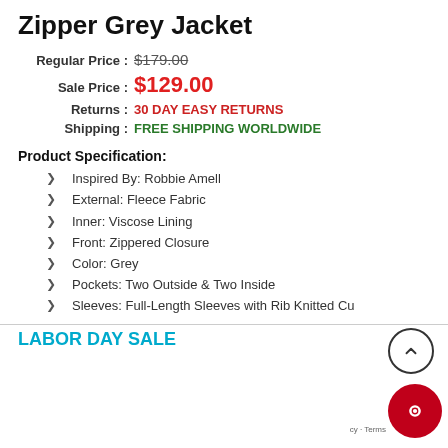Zipper Grey Jacket
Regular Price : $179.00
Sale Price : $129.00
Returns : 30 DAY EASY RETURNS
Shipping : FREE SHIPPING WORLDWIDE
Product Specification:
Inspired By: Robbie Amell
External: Fleece Fabric
Inner: Viscose Lining
Front: Zippered Closure
Color: Grey
Pockets: Two Outside & Two Inside
Sleeves: Full-Length Sleeves with Rib Knitted Cu…
LABOR DAY SALE